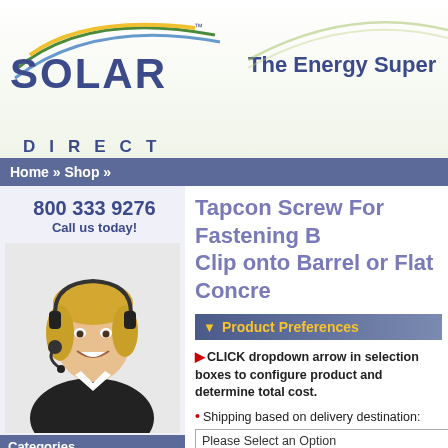SOLAR DIRECT™ — The Energy Super
Home » Shop »
800 333 9276
Call us today!
Tapcon Screw For Fastening B… Clip onto Barrel or Flat Concre…
▼ Product Preferences
CLICK dropdown arrow in selection boxes to configure product and determine total cost.
Shipping based on delivery destination:
Please Select an Option
For Shipments Outside of the Contiguous US please Contact Us
Optional Installation Services
Tell Someone About This Great Deal!
Found a lower price? Let us know![?]
Categories
Solar PV Electric
Water Heaters
Space Heating
Pool Heaters
Pool and Spa
Lighting
Water Conservation
Wind Power
Energy Savings
Outdoor Lifestyle